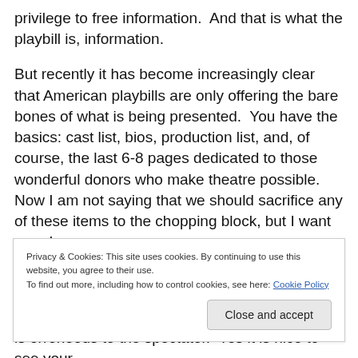privilege to free information.  And that is what the playbill is, information.
But recently it has become increasingly clear that American playbills are only offering the bare bones of what is being presented.  You have the basics: cast list, bios, production list, and, of course, the last 6-8 pages dedicated to those wonderful donors who make theatre possible.  Now I am not saying that we should sacrifice any of these items to the chopping block, but I want more!
Privacy & Cookies: This site uses cookies. By continuing to use this website, you agree to their use.
To find out more, including how to control cookies, see here: Cookie Policy
is erroneous to the spectator.  Yes it is nice to see your